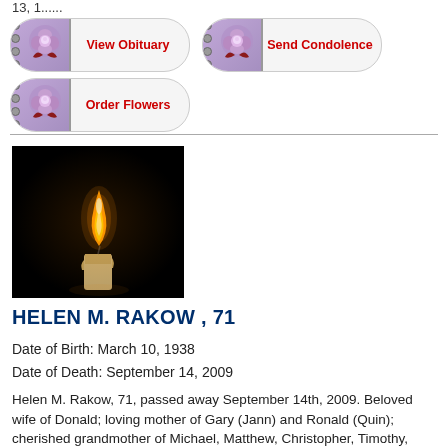13, 1......
[Figure (illustration): Three notebook-style buttons with purple/floral decoration: 'View Obituary', 'Send Condolence', and 'Order Flowers']
[Figure (photo): A lit candle with a flame against a black background]
HELEN M. RAKOW , 71
Date of Birth: March 10, 1938
Date of Death: September 14, 2009
Helen M. Rakow, 71, passed away September 14th, 2009. Beloved wife of Donald; loving mother of Gary (Jann) and Ronald (Quin); cherished grandmother of Michael, Matthew, Christopher, Timothy,